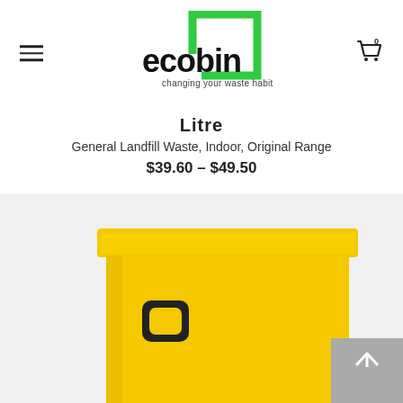[Figure (logo): Ecobin logo with green square bracket outline and text 'ecobin changing your waste habits']
Litre
General Landfill Waste, Indoor, Original Range
$39.60 – $49.50
[Figure (photo): Yellow ecobin waste bin with black handle, top portion visible against light grey background]